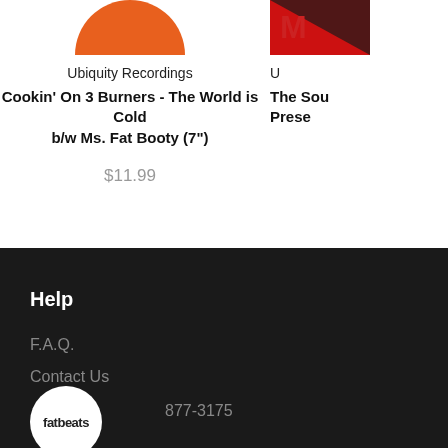[Figure (photo): Orange circular album art (cropped, top portion visible)]
Ubiquity Recordings
Cookin' On 3 Burners - The World is Cold b/w Ms. Fat Booty (7")
$11.99
[Figure (photo): Red and black album art (cropped, top-right corner visible)]
U
The Sou... Prese...
Help
F.A.Q.
Contact Us
877-3175
[Figure (logo): Fat Beats circular logo in white circle]